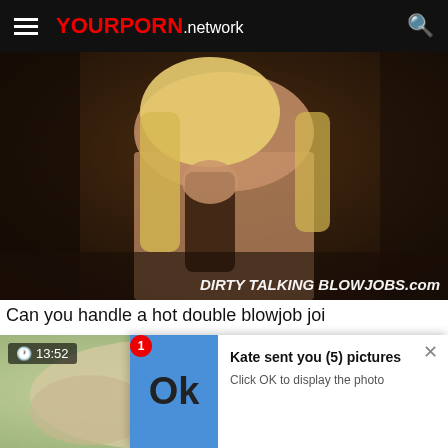YOURPORN.network
[Figure (photo): Video thumbnail showing adult content with watermark 'DIRTY TALKING BLOWJOBS.com']
Can you handle a hot double blowjob joi
[Figure (photo): Second video thumbnail with duration 13:52, 1 like, 2 dislikes, showing adult content with notification popup overlay]
Kate sent you (5) pictures
Click OK to display the photo